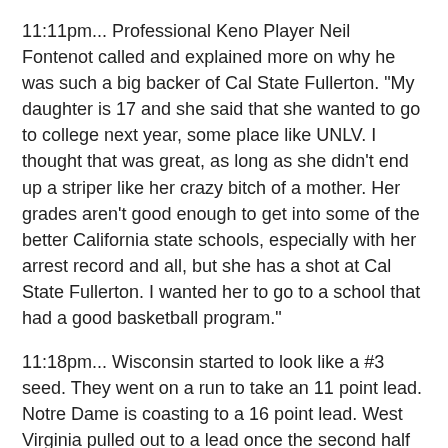11:11pm... Professional Keno Player Neil Fontenot called and explained more on why he was such a big backer of Cal State Fullerton. "My daughter is 17 and she said that she wanted to go to college next year, some place like UNLV. I thought that was great, as long as she didn't end up a striper like her crazy bitch of a mother. Her grades aren't good enough to get into some of the better California state schools, especially with her arrest record and all, but she has a shot at Cal State Fullerton. I wanted her to go to a school that had a good basketball program."
11:18pm... Wisconsin started to look like a #3 seed. They went on a run to take an 11 point lead. Notre Dame is coasting to a 16 point lead. West Virginia pulled out to a lead once the second half started. And UCLA game? Still a blowout. The question at this point is not if they will win, rather, if they will cover?
11:33pm... Notre Dame up by 16 with two minutes to go. My final bet of the day is looking good. Just hoping for a strong finish. UCLA is up by 30+ while Love leads the way with 20